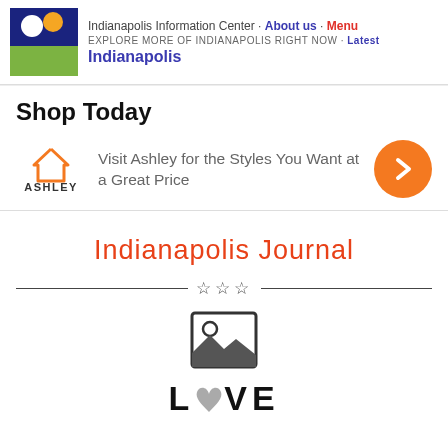Indianapolis Information Center · About us · Menu
EXPLORE MORE OF INDIANAPOLIS RIGHT NOW · Latest
Indianapolis
Shop Today
Visit Ashley for the Styles You Want at a Great Price
Indianapolis Journal
[Figure (illustration): Decorative horizontal divider with three outlined stars in the center]
[Figure (photo): Image placeholder icon showing a landscape photo symbol with sun and mountains]
LOVE